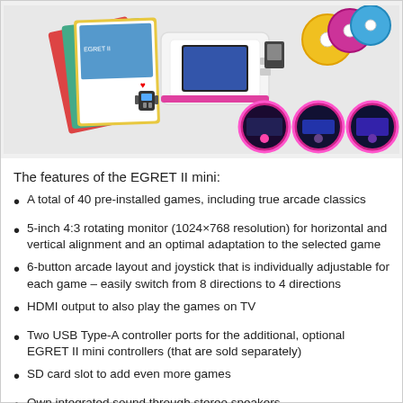[Figure (photo): Product photo collage showing the EGRET II mini console with accessories, game booklets, cartridges, controllers, and circular inset images showing different views of the device screen.]
The features of the EGRET II mini:
A total of 40 pre-installed games, including true arcade classics
5-inch 4:3 rotating monitor (1024×768 resolution) for horizontal and vertical alignment and an optimal adaptation to the selected game
6-button arcade layout and joystick that is individually adjustable for each game – easily switch from 8 directions to 4 directions
HDMI output to also play the games on TV
Two USB Type-A controller ports for the additional, optional EGRET II mini controllers (that are sold separately)
SD card slot to add even more games
Own integrated sound through stereo speakers